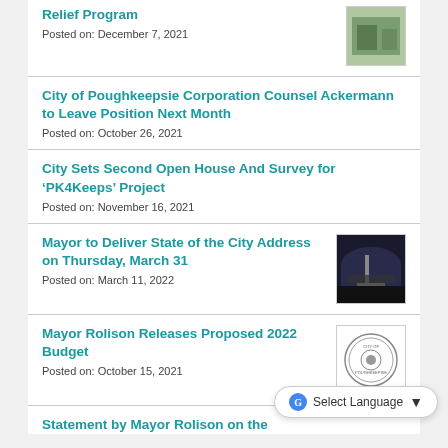Relief Program
Posted on: December 7, 2021
City of Poughkeepsie Corporation Counsel Ackermann to Leave Position Next Month
Posted on: October 26, 2021
City Sets Second Open House And Survey for ‘PK4Keeps’ Project
Posted on: November 16, 2021
Mayor to Deliver State of the City Address on Thursday, March 31
Posted on: March 11, 2022
Mayor Rolison Releases Proposed 2022 Budget
Posted on: October 15, 2021
Statement by Mayor Rolison on the